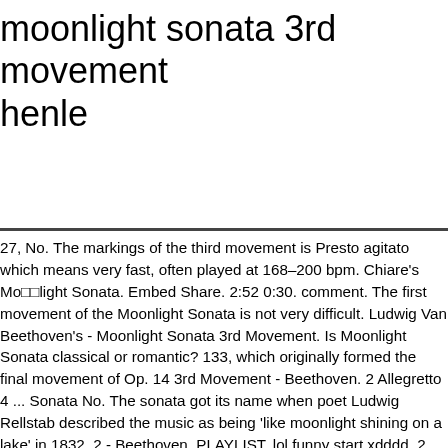moonlight sonata 3rd movement henle
27, No. The markings of the third movement is Presto agitato which means very fast, often played at 168–200 bpm. Chiare's Moonlight Sonata. Embed Share. 2:52 0:30. comment. The first movement of the Moonlight Sonata is not very difficult. Ludwig Van Beethoven's - Moonlight Sonata 3rd Movement. Is Moonlight Sonata classical or romantic? 133, which originally formed the final movement of Op. 14 3rd Movement - Beethoven. 2 Allegretto 4 ... Sonata No. The sonata got its name when poet Ludwig Rellstab described the music as being 'like moonlight shining on a lake' in 1832. 2 - Beethoven. PLAYLIST. lol funny start xdddd. 2, 'Moonlight' is one of the most popular piano pieces ever written. The third movement to Beethoven's 'Moonlight' Sonata (No. Moonlight Sonata Sheet Music Beethoven PDF Free Download "Moonlight Sonata Sheet Music" by Beethoven, " Moonlight Sonata Sheet Music" for Piano, Original key: C# Minor, number of pages sheet music PDF: 25, (1st / 2nd / 3rd movement) /Video Piano Tutorial Easy and Video Piano Cover Moonlight Sonata Sheet Music. My performance of the third movement of Beethoven's Moonlight Sonata. 14 'Quasi una